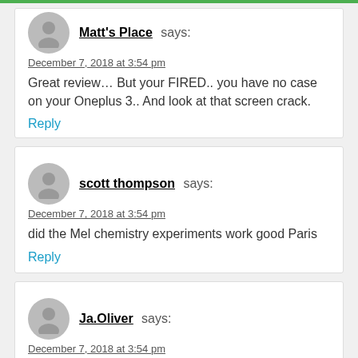Matt's Place says:
December 7, 2018 at 3:54 pm
Great review… But your FIRED.. you have no case on your Oneplus 3.. And look at that screen crack.
Reply
scott thompson says:
December 7, 2018 at 3:54 pm
did the Mel chemistry experiments work good Paris
Reply
Ja.Oliver says:
December 7, 2018 at 3:54 pm
i like your as seen as tv videos. Good job keep it up
Reply